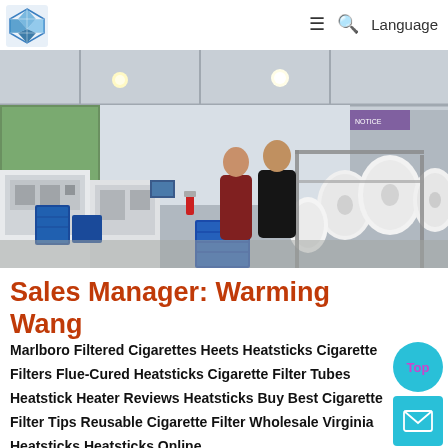Logo | ≡ 🔍 Language
[Figure (photo): Factory interior showing industrial machinery, large rolls of white material/fabric, blue plastic crates, and workers in a large warehouse-style building with white walls and overhead lighting.]
Sales Manager: Warming Wang
Marlboro Filtered Cigarettes Heets Heatsticks Cigarette Filters Flue-Cured Heatsticks Cigarette Filter Tubes Heatstick Heater Reviews Heatsticks Buy Best Cigarette Filter Tips Reusable Cigarette Filter Wholesale Virginia Heatsticks Heatsticks Online